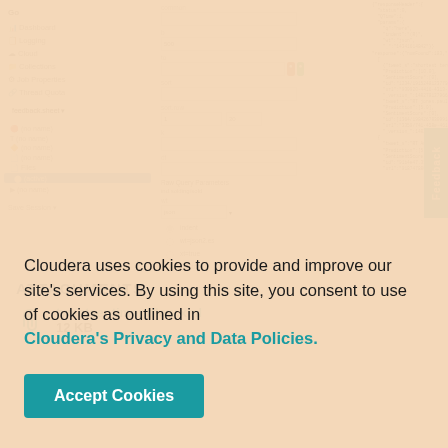[Figure (screenshot): Web application interface showing a sidebar navigation with Dashboard, Logging, Cloud, Collections, Job Properties, Thread Quota items, a feedback form area with fields, and a JSON code panel on the right showing tweet sentiment API response data.]
ATTACHMENTS
[Figure (other): Paperclip icon next to file attachment]
tweetsentimentflow.xml
12 KB
Cloudera uses cookies to provide and improve our site's services. By using this site, you consent to use of cookies as outlined in Cloudera's Privacy and Data Policies.
Accept Cookies